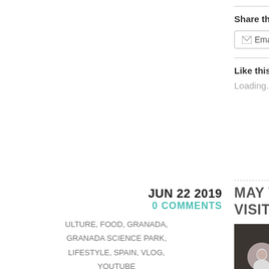Share this:
Email | Tweet | Save | W
Like this:
Loading...
JUN 22 2019
0 COMMENTS
ULTURE, FOOD, GRANADA, GRANADA SCIENCE PARK, LIFESTYLE, SPAIN, VLOG, YOUTUBE
MAY VLOG PART 2 – A RAND... VISIT AND PROCESSIONS AR...
[Figure (screenshot): Video thumbnail showing a woman's avatar and text 'May VLOG Part TWO | Trav...' on a dark background]